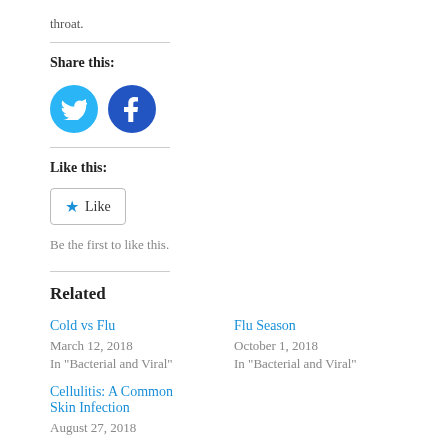throat.
Share this:
[Figure (illustration): Twitter and Facebook circular social sharing icons]
Like this:
[Figure (other): WordPress Like button widget]
Be the first to like this.
Related
Cold vs Flu
March 12, 2018
In "Bacterial and Viral"
Flu Season
October 1, 2018
In "Bacterial and Viral"
Cellulitis: A Common Skin Infection
August 27, 2018